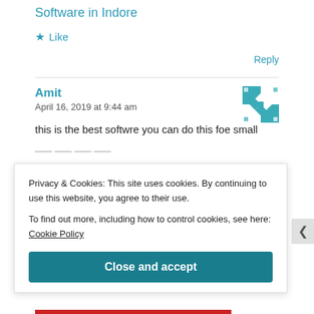Software in Indore
★ Like
Reply
Amit
April 16, 2019 at 9:44 am
this is the best softwre you can do this foe small
Privacy & Cookies: This site uses cookies. By continuing to use this website, you agree to their use.
To find out more, including how to control cookies, see here: Cookie Policy
Close and accept